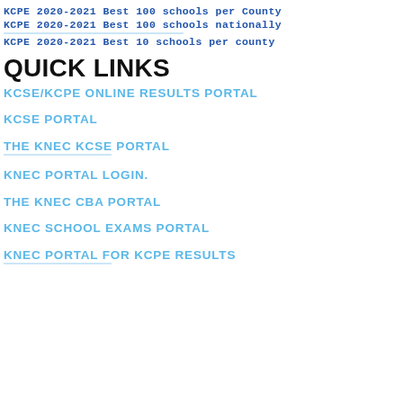KCPE 2020-2021 Best 100 schools per County
KCPE 2020-2021 Best 100 schools nationally
KCPE 2020-2021 Best 10 schools per county
QUICK LINKS
KCSE/KCPE ONLINE RESULTS PORTAL
KCSE PORTAL
THE KNEC KCSE PORTAL
KNEC PORTAL LOGIN.
THE KNEC CBA PORTAL
KNEC SCHOOL EXAMS PORTAL
KNEC PORTAL FOR KCPE RESULTS